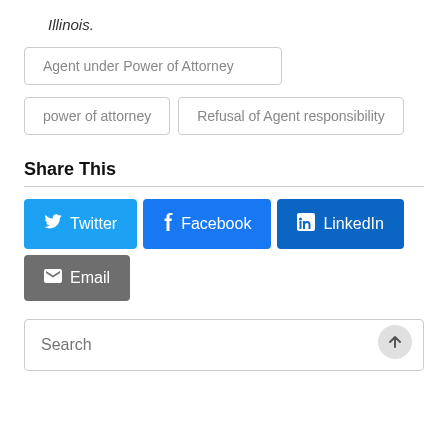Illinois.
Agent under Power of Attorney
power of attorney
Refusal of Agent responsibility
Share This
Twitter
Facebook
LinkedIn
Email
Search